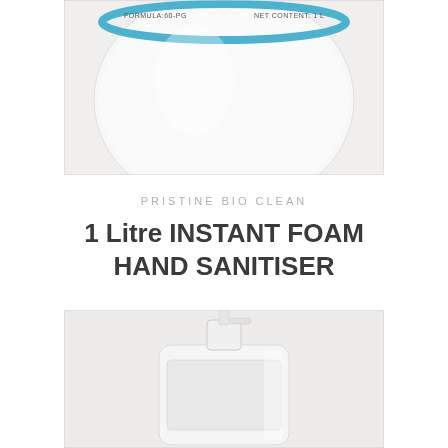[Figure (photo): Close-up top view of a white 1-litre foam hand sanitiser bottle with a blue circular label band visible at the top, showing partial text including 'NET CONTENT: 1 L'. The bottle is white with a slightly off-white background.]
PRISTINE BIO CLEAN
1 Litre INSTANT FOAM HAND SANITISER
[Figure (photo): Front view of a white 1-litre foam hand sanitiser bottle with a pump dispenser on top. The bottle has a rectangular label area. Background is light grey/white.]